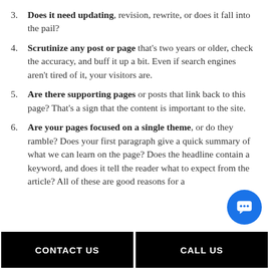3. Does it need updating, revision, rewrite, or does it fall into the pail?
4. Scrutinize any post or page that's two years or older, check the accuracy, and buff it up a bit. Even if search engines aren't tired of it, your visitors are.
5. Are there supporting pages or posts that link back to this page? That's a sign that the content is important to the site.
6. Are your pages focused on a single theme, or do they ramble? Does your first paragraph give a quick summary of what we can learn on the page? Does the headline contain a keyword, and does it tell the reader what to expect from the article? All of these are good reasons for a
CONTACT US | CALL US